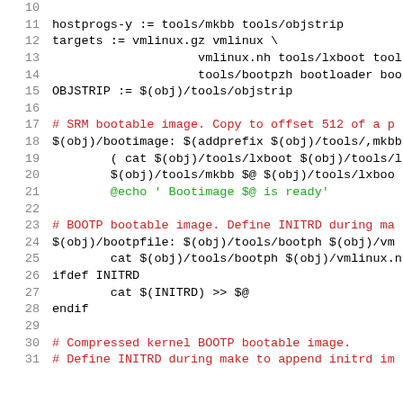Source code listing lines 10-31, Makefile for bootable images
11  hostprogs-y    := tools/mkbb tools/objstrip
12  targets         := vmlinux.gz vmlinux \
13                      vmlinux.nh tools/lxboot tools...
14                      tools/bootpzh bootloader boo...
15  OBJSTRIP        := $(obj)/tools/objstrip
16  (blank)
17  # SRM bootable image.  Copy to offset 512 of a p...
18  $(obj)/bootimage: $(addprefix $(obj)/tools/,mkbb...
19          ( cat $(obj)/tools/lxboot $(obj)/tools/l...
20          $(obj)/tools/mkbb $@ $(obj)/tools/lxboo...
21          @echo '  Bootimage $@ is ready'
22  (blank)
23  # BOOTP bootable image.  Define INITRD during ma...
24  $(obj)/bootpfile: $(obj)/tools/bootph $(obj)/vm...
25          cat $(obj)/tools/bootph $(obj)/vmlinux.n...
26  ifdef INITRD
27          cat $(INITRD) >> $@
28  endif
29  (blank)
30  # Compressed kernel BOOTP bootable image.
31  # Define INITRD during make to append initrd im...